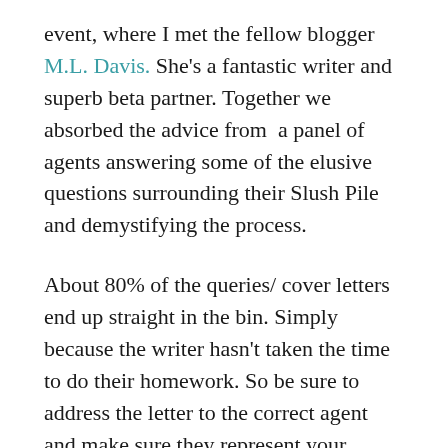event, where I met the fellow blogger M.L. Davis. She's a fantastic writer and superb beta partner. Together we absorbed the advice from  a panel of agents answering some of the elusive questions surrounding their Slush Pile and demystifying the process.
About 80% of the queries/ cover letters end up straight in the bin. Simply because the writer hasn't taken the time to do their homework. So be sure to address the letter to the correct agent and make sure they represent your genre.
Sometimes the concept or voice is too familiar to them. Perhaps they're already working with someone who's wrote something similar. Maybe the planets aren't